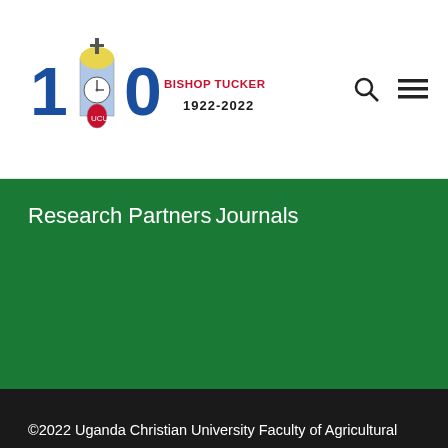[Figure (logo): Bishop Tucker Building 100 years 1922-2022 logo with clock tower illustration]
Research Partners
Journals
©2022 Uganda Christian University Faculty of Agricultural Sciences . All Copyrights Reserved. Managed by Directorate of ICT Services